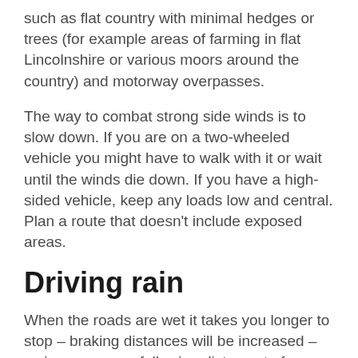such as flat country with minimal hedges or trees (for example areas of farming in flat Lincolnshire or various moors around the country) and motorway overpasses.
The way to combat strong side winds is to slow down. If you are on a two-wheeled vehicle you might have to walk with it or wait until the winds die down. If you have a high-sided vehicle, keep any loads low and central. Plan a route that doesn't include exposed areas.
Driving rain
When the roads are wet it takes you longer to stop – braking distances will be increased – so increase your following distance to four seconds. If it has been sunny for a while